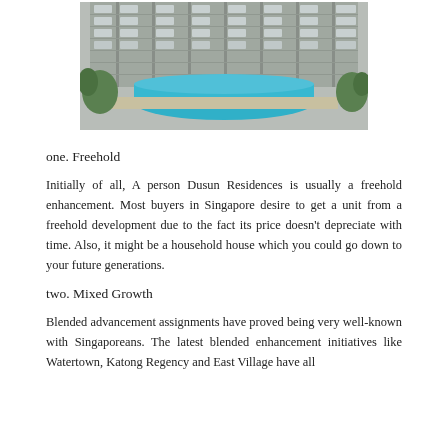[Figure (photo): Photograph of a high-rise condominium building with a swimming pool in the foreground, surrounded by greenery]
one. Freehold
Initially of all, A person Dusun Residences is usually a freehold enhancement. Most buyers in Singapore desire to get a unit from a freehold development due to the fact its price doesn't depreciate with time. Also, it might be a household house which you could go down to your future generations.
two. Mixed Growth
Blended advancement assignments have proved being very well-known with Singaporeans. The latest blended enhancement initiatives like Watertown, Katong Regency and East Village have all been well-received by buyers as well as of great quality. A...